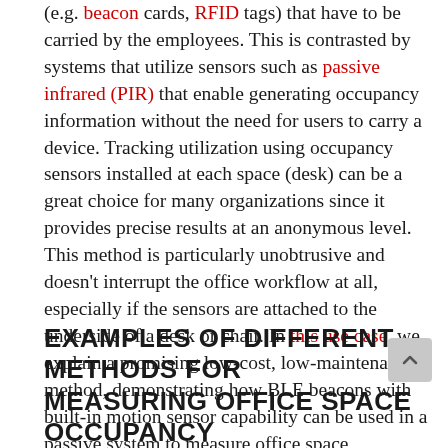(e.g. beacon cards, RFID tags) that have to be carried by the employees. This is contrasted by systems that utilize sensors such as passive infrared (PIR) that enable generating occupancy information without the need for users to carry a device. Tracking utilization using occupancy sensors installed at each space (desk) can be a great choice for many organizations since it provides precise results at an anonymous level. This method is particularly unobtrusive and doesn't interrupt the office workflow at all, especially if the sensors are attached to the underside of a desk or chair. In this use case, we explain a promising low-cost, low-maintenance method, demonstrating how BLE beacons with built-in motion sensor capability can be used in a passive system to measure office space occupancy.
EXAMPLES OF DIFFERENT METHODS FOR MEASURING OFFICE SPACE OCCUPANCY